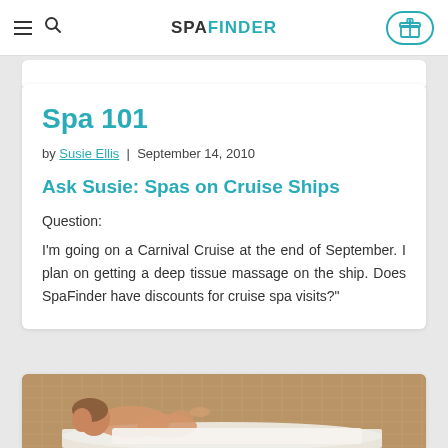SPAFINDER
Spa 101
by Susie Ellis | September 14, 2010
Ask Susie: Spas on Cruise Ships
Question:
I'm going on a Carnival Cruise at the end of September. I plan on getting a deep tissue massage on the ship. Does SpaFinder have discounts for cruise spa visits?"
[Figure (photo): Woman lying face down receiving a massage at a spa, tile wall background]